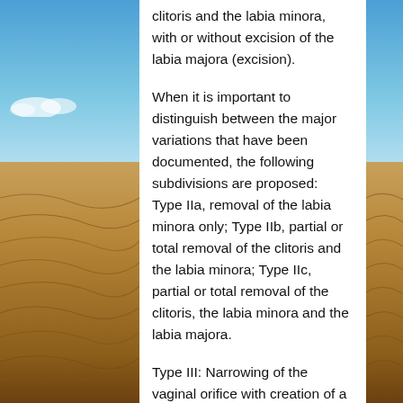[Figure (photo): Desert landscape background with blue sky on top and golden sand dunes on the bottom, visible on both sides of a central white content panel.]
clitoris and the labia minora, with or without excision of the labia majora (excision).
When it is important to distinguish between the major variations that have been documented, the following subdivisions are proposed: Type IIa, removal of the labia minora only; Type IIb, partial or total removal of the clitoris and the labia minora; Type IIc, partial or total removal of the clitoris, the labia minora and the labia majora.
Type III: Narrowing of the vaginal orifice with creation of a covering